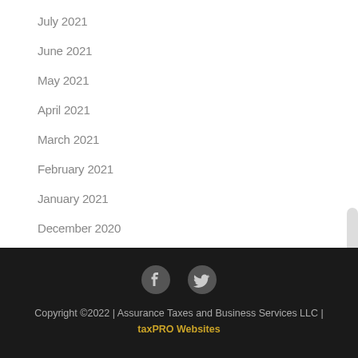July 2021
June 2021
May 2021
April 2021
March 2021
February 2021
January 2021
December 2020
Copyright ©2022 | Assurance Taxes and Business Services LLC | taxPRO Websites